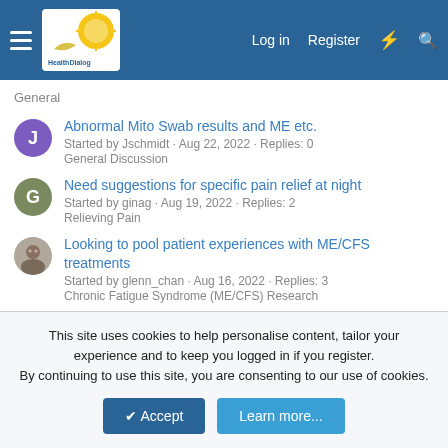HealthDialog — Log in | Register
General
Abnormal Mito Swab results and ME etc. — Started by Jschmidt · Aug 22, 2022 · Replies: 0 — General Discussion
Need suggestions for specific pain relief at night — Started by ginag · Aug 19, 2022 · Replies: 2 — Relieving Pain
Looking to pool patient experiences with ME/CFS treatments — Started by glenn_chan · Aug 16, 2022 · Replies: 3 — Chronic Fatigue Syndrome (ME/CFS) Research
Forum Tips
This site uses cookies to help personalise content, tailor your experience and to keep you logged in if you register.
By continuing to use this site, you are consenting to our use of cookies.